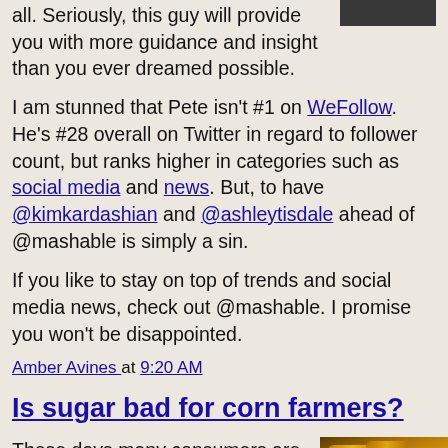all. Seriously, this guy will provide you with more guidance and insight than you ever dreamed possible.
[Figure (photo): Partial photo of a person, top-right corner]
I am stunned that Pete isn't #1 on WeFollow. He's #28 overall on Twitter in regard to follower count, but ranks higher in categories such as social media and news. But, to have @kimkardashian and @ashleytisdale ahead of @mashable is simply a sin.
If you like to stay on top of trends and social media news, check out @mashable. I promise you won't be disappointed.
Amber Avines at 9:20 AM
Is sugar bad for corn farmers?
These days many consumers are asking for, and subsequently purchasing, more foods with all-natural ingredients. Consumer buying habits are changing, whether it's due to education or, in some
[Figure (photo): Photo of corn cobs and corn kernels in a bowl]